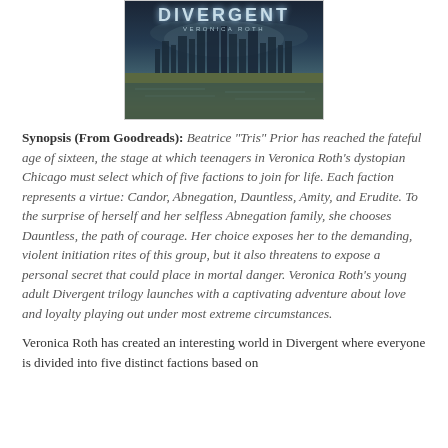[Figure (illustration): Book cover of Divergent by Veronica Roth showing the title text and author name over a dystopian cityscape background with a misty city skyline reflected in water]
Synopsis (From Goodreads): Beatrice "Tris" Prior has reached the fateful age of sixteen, the stage at which teenagers in Veronica Roth's dystopian Chicago must select which of five factions to join for life. Each faction represents a virtue: Candor, Abnegation, Dauntless, Amity, and Erudite. To the surprise of herself and her selfless Abnegation family, she chooses Dauntless, the path of courage. Her choice exposes her to the demanding, violent initiation rites of this group, but it also threatens to expose a personal secret that could place in mortal danger. Veronica Roth's young adult Divergent trilogy launches with a captivating adventure about love and loyalty playing out under most extreme circumstances.
Veronica Roth has created an interesting world in Divergent where everyone is divided into five distinct factions based on